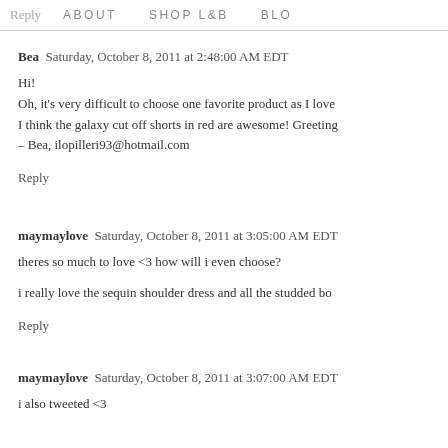Reply   ABOUT   SHOP L&B   BLO...
Bea  Saturday, October 8, 2011 at 2:48:00 AM EDT
Hi!
Oh, it's very difficult to choose one favorite product as I love...
I think the galaxy cut off shorts in red are awesome! Greeting...
– Bea, ilopilleri93@hotmail.com
Reply
maymaylove  Saturday, October 8, 2011 at 3:05:00 AM EDT
theres so much to love <3 how will i even choose?
i really love the sequin shoulder dress and all the studded bo...
Reply
maymaylove  Saturday, October 8, 2011 at 3:07:00 AM EDT
i also tweeted <3